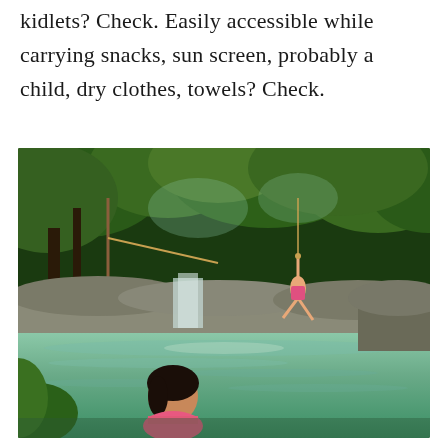kidlets? Check. Easily accessible while carrying snacks, sun screen, probably a child, dry clothes, towels? Check.
[Figure (photo): A scenic waterfall and swimming hole with green water surrounded by lush trees and rocks. A person is swinging on a rope swing over the water, and a girl in a pink bikini sits in the foreground watching.]